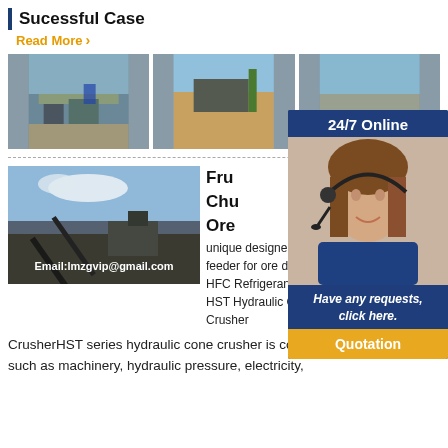Sucessful Case
Read More
[Figure (photo): Three photos of crushing/mining plant equipment installations outdoors]
[Figure (photo): 24/7 Online customer service popup with woman wearing headset, 'Have any requests, click here.' and Quotation button]
[Figure (photo): Photo of conveyor belt and mining equipment at night/dusk, with email overlay: Email:lmzgvip@gmail.com]
Fru
Chu
Ore
unique designed chute feeder for ore dressing
HFC Refrigerants (55)
HST Hydraulic Cone Crusher
CrusherHST series hydraulic cone crusher is combined with technology such as machinery, hydraulic pressure, electricity,